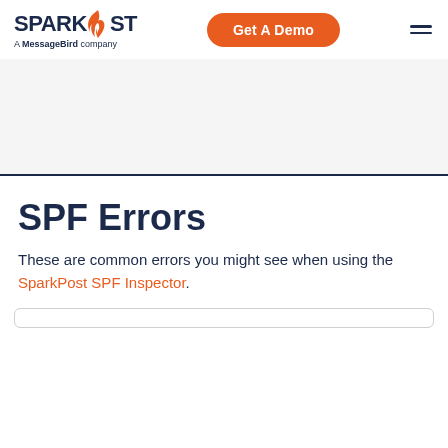SPARKPOST — A MessageBird company | Get A Demo | Menu
SPF Errors
These are common errors you might see when using the SparkPost SPF Inspector.